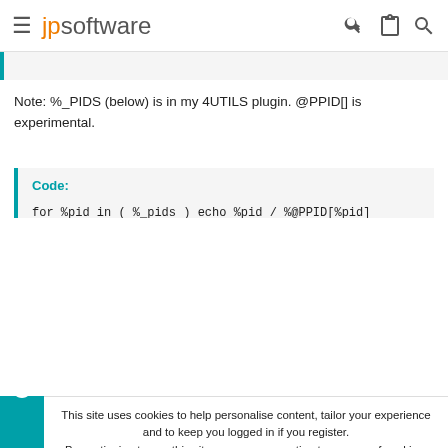jpsoftware
Note: %_PIDS (below) is in my 4UTILS plugin. @PPID[] is experimental.
Code:

for %pid in ( %_pids ) echo %pid / %@PPID[%pid]

0 / 0
4 / 0
180 / 924
248 / 228
This site uses cookies to help personalise content, tailor your experience and to keep you logged in if you register.
By continuing to use this site, you are consenting to our use of cookies.